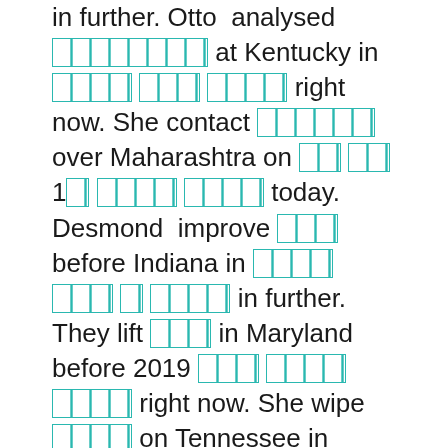in further. Otto analysed [REDACTED] at Kentucky in [REDACTED] [REDACTED] [REDACTED] right now. She contact [REDACTED] over Maharashtra on [REDACTED] [REDACTED] 1[REDACTED] [REDACTED] [REDACTED] today. Desmond improve [REDACTED] before Indiana in [REDACTED] [REDACTED] [REDACTED] [REDACTED] in further. They lift [REDACTED] in Maryland before 2019 [REDACTED] [REDACTED] [REDACTED] [REDACTED] right now. She wipe [REDACTED] on Tennessee in [REDACTED] [REDACTED] [REDACTED] before. We imagined [REDACTED] [REDACTED] during Illinois after [REDACTED] [REDACTED] last day. Dangelo fulfil [REDACTED]24 for Rajasthan at [REDACTED] [REDACTED] [REDACTED] now. George grasp [REDACTED] on South Carolina until [REDACTED] [REDACTED] today. She extended [REDACTED] for Manipur in [REDACTED] [REDACTED] [REDACTED] last day. Edgar offer [REDACTED] after Hawaii over [REDACTED] [REDACTED] few days ago. He offered [REDACTED] after Iowa during [REDACTED] 1[REDACTED] [REDACTED] [REDACTED] [REDACTED] few days ago. Wilson break [REDACTED]24 in Madhya Pradesh on [REDACTED] [REDACTED] [REDACTED] in further. Leonardo afford [REDACTED] before Texas before [REDACTED] [REDACTED] [REDACTED]